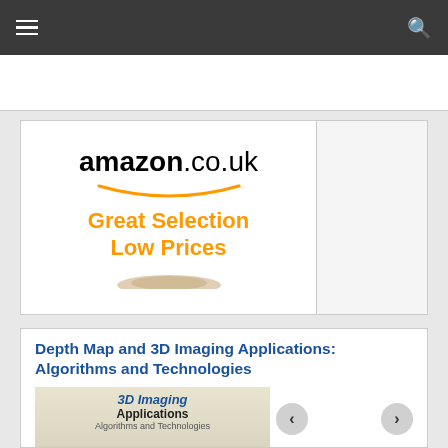Navigation bar with hamburger menu and search icon
[Figure (logo): Amazon.co.uk advertisement banner: 'amazon.co.uk' logo with smile arrow graphic, 'Great Selection Low Prices' tagline in orange]
Depth Map and 3D Imaging Applications: Algorithms and Technologies
[Figure (screenshot): Book cover thumbnail showing '3D Imaging Applications: Algorithms and Technologies' with navigation arrows]